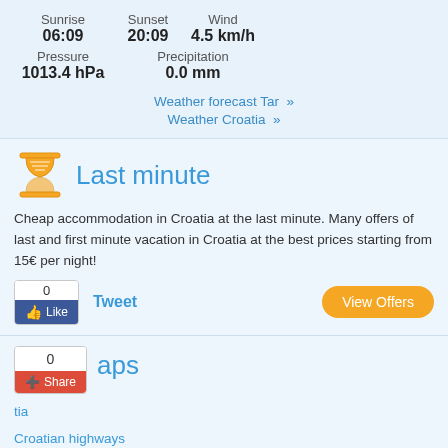| Sunrise | Sunset | Wind |
| --- | --- | --- |
| 06:09 | 20:09 | 4.5 km/h |
| Pressure | Precipitation |
| --- | --- |
| 1013.4 hPa | 0.0 mm |
Weather forecast Tar »
Weather Croatia »
Last minute
Cheap accommodation in Croatia at the last minute. Many offers of last and first minute vacation in Croatia at the best prices starting from 15€ per night!
Tweet
View Offers
aps
tia
Croatian highways
Map of Croatian counties
Map of Croatian cities